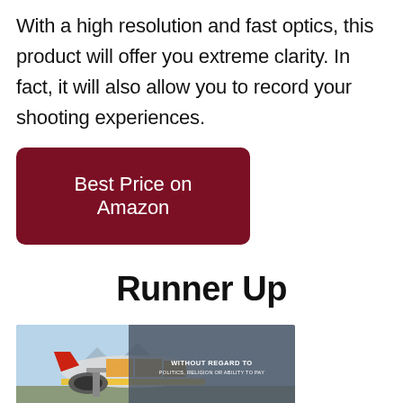With a high resolution and fast optics, this product will offer you extreme clarity.  In fact, it will also allow you to record your shooting experiences.
[Figure (other): Dark red/maroon rounded rectangle button with white text reading 'Best Price on Amazon']
Runner Up
[Figure (photo): Advertisement banner showing an airplane being loaded with cargo, with an overlay reading 'WITHOUT REGARD TO POLITICS, RELIGION OR ABILITY TO PAY']
×